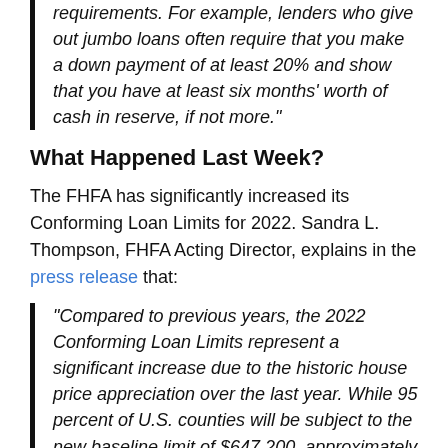requirements. For example, lenders who give out jumbo loans often require that you make a down payment of at least 20% and show that you have at least six months' worth of cash in reserve, if not more."
What Happened Last Week?
The FHFA has significantly increased its Conforming Loan Limits for 2022. Sandra L. Thompson, FHFA Acting Director, explains in the press release that:
“Compared to previous years, the 2022 Conforming Loan Limits represent a significant increase due to the historic house price appreciation over the last year. While 95 percent of U.S. counties will be subject to the new baseline limit of $647,200, approximately 100 counties will have conforming loan limits approaching $1 million.”
This means that more homes now qualify for a conforming loan, which means more people can get a conventional mortgage.